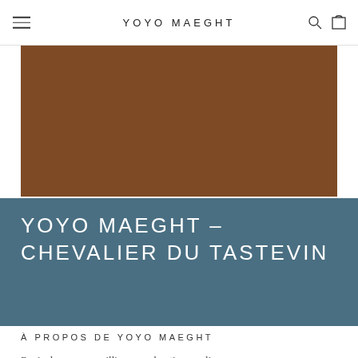YOYO MAEGHT
[Figure (photo): Brown/rust colored rectangular image block, cropped at top, showing partial product or background image.]
YOYO MAEGHT – CHEVALIER DU TASTEVIN
À PROPOS DE YOYO MAEGHT
Ravie de vous accueillir sur ma boutique en ligne